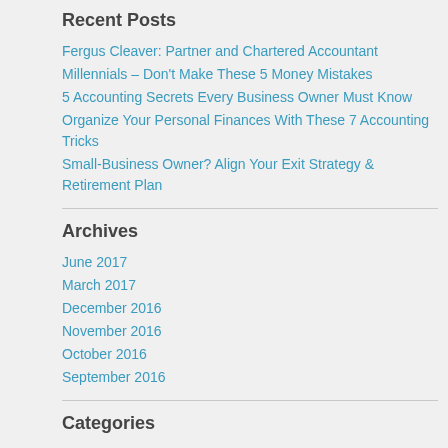Recent Posts
Fergus Cleaver: Partner and Chartered Accountant
Millennials – Don't Make These 5 Money Mistakes
5 Accounting Secrets Every Business Owner Must Know
Organize Your Personal Finances With These 7 Accounting Tricks
Small-Business Owner? Align Your Exit Strategy & Retirement Plan
Archives
June 2017
March 2017
December 2016
November 2016
October 2016
September 2016
Categories
Finance and Accounting
Facebook